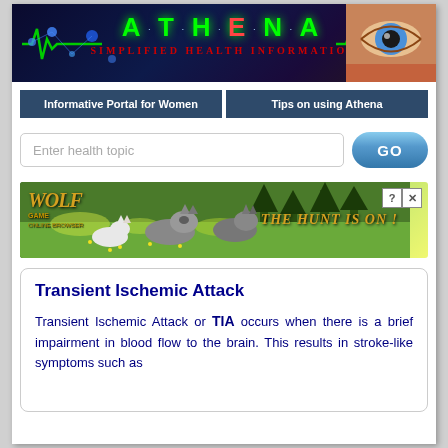[Figure (screenshot): ATHENA Simplified Health Information website header banner with green glowing text on dark background, with a woman's eye visible on the right side and green EKG heartbeat lines]
Informative Portal for Women | Tips on using Athena
Enter health topic [search input] GO
[Figure (photo): Wolf game advertisement banner with wolves in a meadow and text 'THE HUNT IS ON!']
Transient Ischemic Attack
Transient Ischemic Attack or TIA occurs when there is a brief impairment in blood flow to the brain. This results in stroke-like symptoms such as